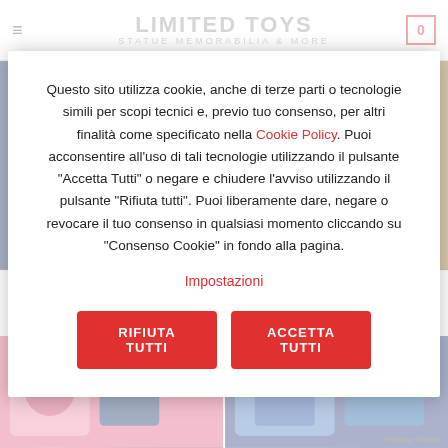LIMITED TOYS – STATUE MEMORABILIA & MORE
[Figure (photo): Two anime mecha robot product images side by side with BANDAI logo badges – left shows blue/red robot torso, right shows gold/yellow robot]
Questo sito utilizza cookie, anche di terze parti o tecnologie simili per scopi tecnici e, previo tuo consenso, per altri finalità come specificato nella Cookie Policy. Puoi acconsentire all'uso di tali tecnologie utilizzando il pulsante "Accetta Tutti" o negare e chiudere l'avviso utilizzando il pulsante "Rifiuta tutti". Puoi liberamente dare, negare o revocare il tuo consenso in qualsiasi momento cliccando su "Consenso Cookie" in fondo alla pagina.
Impostazioni
RIFIUTA TUTTI
ACCETTA TUTTI
[Figure (photo): Two more anime mecha product images side by side at the bottom of the page]
Privacy · Terms